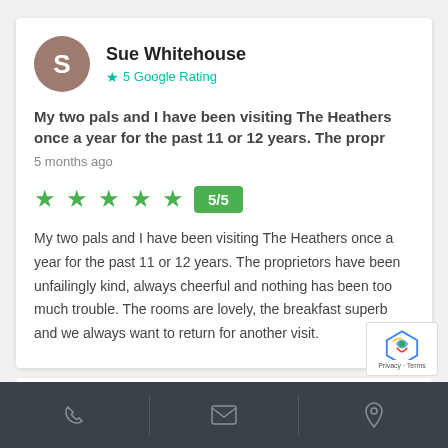Sue Whitehouse
5 Google Rating
My two pals and I have been visiting The Heathers once a year for the past 11 or 12 years. The propr
5 months ago
5/5
My two pals and I have been visiting The Heathers once a year for the past 11 or 12 years. The proprietors have been unfailingly kind, always cheerful and nothing has been too much trouble. The rooms are lovely, the breakfast superb and we always want to return for another visit.
Phone | Email | Location